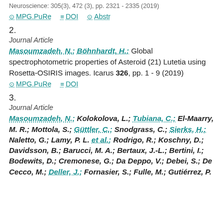Neuroscience: 305(3), 472 (3), pp. 2321 - 2335 (2019)
MPG.PuRe  DOI  Abstr
2.
Journal Article
Masoumzadeh, N.; Böhnhardt, H.: Global spectrophotometric properties of Asteroid (21) Lutetia using Rosetta-OSIRIS images. Icarus 326, pp. 1 - 9 (2019)
MPG.PuRe  DOI
3.
Journal Article
Masoumzadeh, N.; Kolokolova, L.; Tubiana, C.; El-Maarry, M. R.; Mottola, S.; Güttler, C.; Snodgrass, C.; Sierks, H.; Naletto, G.; Lamy, P. L. et al.; Rodrigo, R.; Koschny, D.; Davidsson, B.; Barucci, M. A.; Bertaux, J.-L.; Bertini, I.; Bodewits, D.; Cremonese, G.; Da Deppo, V.; Debei, S.; De Cecco, M.; Deller, J.; Fornasier, S.; Fulle, M.; Gutiérrez, P.